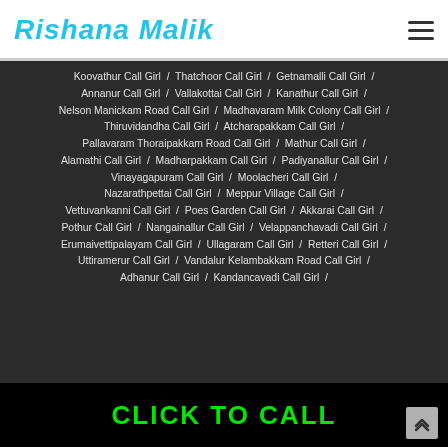Rishana Malik
Koovathur Call Girl / Thatchoor Call Girl / Getnamalli Call Girl / Annanur Call Girl / Vallakottai Call Girl / Kanathur Call Girl / Nelson Manickam Road Call Girl / Madhavaram Milk Colony Call Girl / Thiruvidandha Call Girl / Atcharapakkam Call Girl / Pallavaram Thoraipakkam Road Call Girl / Mathur Call Girl / Alamathi Call Girl / Madharpakkam Call Girl / Padiyanallur Call Girl / Vinayagapuram Call Girl / Moolacheri Call Girl / Nazarathpettai Call Girl / Meppur Village Call Girl / Vettuvankanni Call Girl / Poes Garden Call Girl / Akkarai Call Girl / Pothur Call Girl / Nangainallur Call Girl / Velappanchavadi Call Girl / Erumaivettipalayam Call Girl / Ullagaram Call Girl / Retteri Call Girl / Uttiramerur Call Girl / Vandalur Kelambakkam Road Call Girl / Adhanur Call Girl / Kandancavadi Call Girl /
CLICK TO CALL